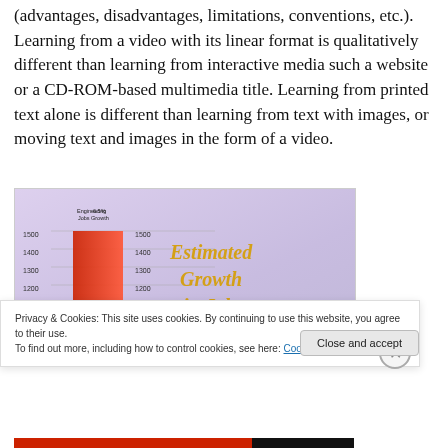(advantages, disadvantages, limitations, conventions, etc.). Learning from a video with its linear format is qualitatively different than learning from interactive media such a website or a CD-ROM-based multimedia title. Learning from printed text alone is different than learning from text with images, or moving text and images in the form of a video.
[Figure (screenshot): Infographic showing a bar chart with 'Engineering Jobs 6.5% Growth' label and bars at values 1500, 1400, 1300, 1200, 1100, 1000 with text 'Estimated Growth in Jobs' in yellow on a purple/blue background]
Privacy & Cookies: This site uses cookies. By continuing to use this website, you agree to their use.
To find out more, including how to control cookies, see here: Cookie Policy